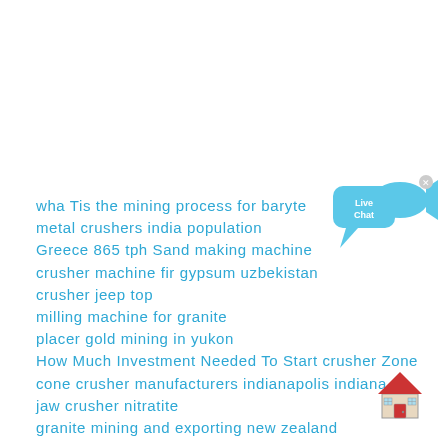[Figure (illustration): Live Chat speech bubble widget with fish icon and close button in top right area]
wha Tis the mining process for baryte
metal crushers india population
Greece 865 tph Sand making machine
crusher machine fir gypsum uzbekistan
crusher jeep top
milling machine for granite
placer gold mining in yukon
How Much Investment Needed To Start crusher Zone
cone crusher manufacturers indianapolis indiana
jaw crusher nitratite
granite mining and exporting new zealand
[Figure (illustration): Small red house/home icon in bottom right corner]